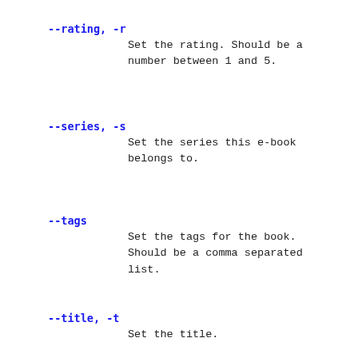--rating, -r
    Set the rating. Should be a number between 1 and 5.
--series, -s
    Set the series this e-book belongs to.
--tags
    Set the tags for the book. Should be a comma separated list.
--title, -t
    Set the title.